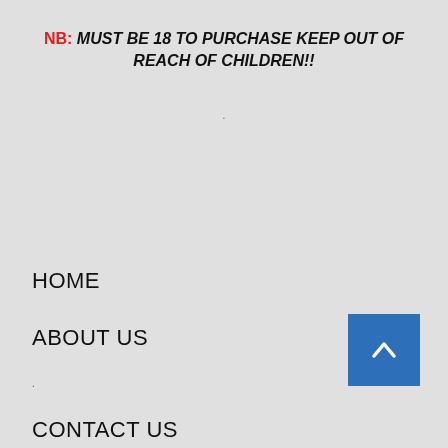NB: MUST BE 18 TO PURCHASE KEEP OUT OF REACH OF CHILDREN!!
.
HOME
ABOUT US
.
CONTACT US
ALL PRODUCTS
PAY WITH CARD
[Figure (other): Blue scroll-to-top button with upward chevron arrow]